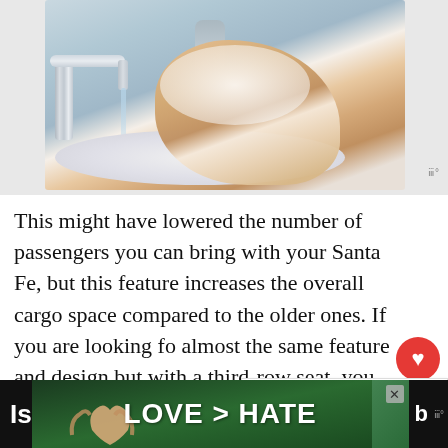[Figure (photo): Person washing hands with soap lather under a running faucet in a white sink, with a soap dispenser visible in the background. Small watermark letters visible bottom right of image.]
This might have lowered the number of passengers you can bring with your Santa Fe, but this feature increases the overall cargo space compared to the older ones. If you are looking for almost the same feature and design but with a third-row seat, you can go for the upgraded Hyundai Palisade.
[Figure (screenshot): Bottom advertisement banner with dark background showing hands making a heart shape with text 'LOVE > HATE' and partial text 'Is...' on left and 'b...' on right with watermark logo]